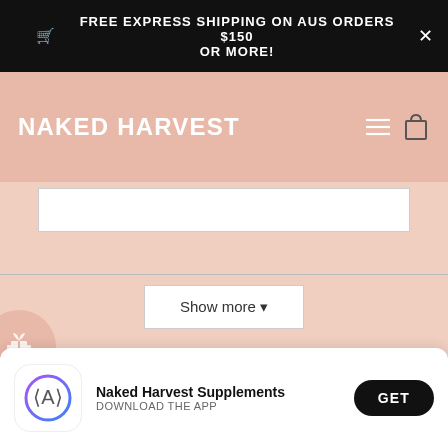🛒 FREE EXPRESS SHIPPING ON AUS ORDERS $150 OR MORE!
[Figure (screenshot): Naked Harvest website navigation bar with logo, hamburger menu, and cart icon on peachy background]
[Figure (screenshot): Show more button with dropdown arrow on website page]
[Figure (screenshot): Gift icon circle and chat bubble circle on peachy background with partial text 'Join the #NHgang community']
[Figure (screenshot): App install banner: Naked Harvest Supplements app icon, name, DOWNLOAD THE APP, and GET button]